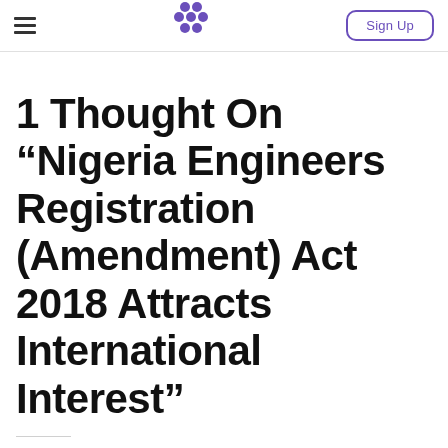Sign Up
1 Thought On “Nigeria Engineers Registration (Amendment) Act 2018 Attracts International Interest”